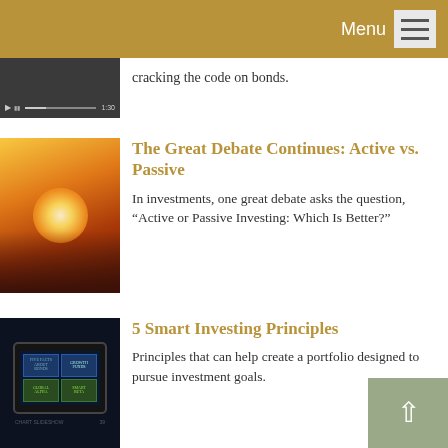Menu
cracking the code on bonds.
[Figure (screenshot): Thumbnail of a video player with dark background and playback controls]
The Great Debate Continues: Active vs. Passive
In investments, one great debate asks the question, “Active or Passive Investing: Which Is Better?”
[Figure (photo): Warm glowing orange-gold abstract image with light burst]
5 Smart Investing Principles
Principles that can help create a portfolio designed to pursue investment goals.
[Figure (screenshot): Person holding a tablet with financial slideshow content displayed]